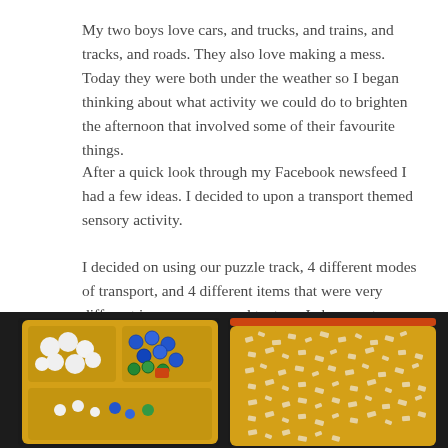My two boys love cars, and trucks, and trains, and tracks, and roads. They also love making a mess. Today they were both under the weather so I began thinking about what activity we could do to brighten the afternoon that involved some of their favourite things.
After a quick look through my Facebook newsfeed I had a few ideas. I decided to upon a transport themed sensory activity.
I decided on using our puzzle track, 4 different modes of transport, and 4 different items that were very different in appearance and texture. I chose water beads, cotton wool balls, dried animal shaped pasta, and small plastic bottle tops.
[Figure (photo): Two photos side by side on a dark background. Left photo shows a yellow tray divided into compartments containing white cotton wool balls and colorful plastic bottle tops (blue, green, red). Right photo shows a yellow tray containing dried animal shaped pasta.]